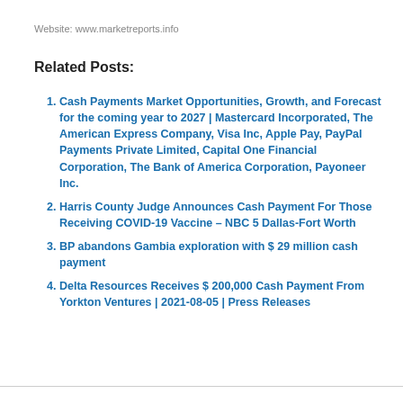Website: www.marketreports.info
Related Posts:
Cash Payments Market Opportunities, Growth, and Forecast for the coming year to 2027 | Mastercard Incorporated, The American Express Company, Visa Inc, Apple Pay, PayPal Payments Private Limited, Capital One Financial Corporation, The Bank of America Corporation, Payoneer Inc.
Harris County Judge Announces Cash Payment For Those Receiving COVID-19 Vaccine – NBC 5 Dallas-Fort Worth
BP abandons Gambia exploration with $ 29 million cash payment
Delta Resources Receives $ 200,000 Cash Payment From Yorkton Ventures | 2021-08-05 | Press Releases